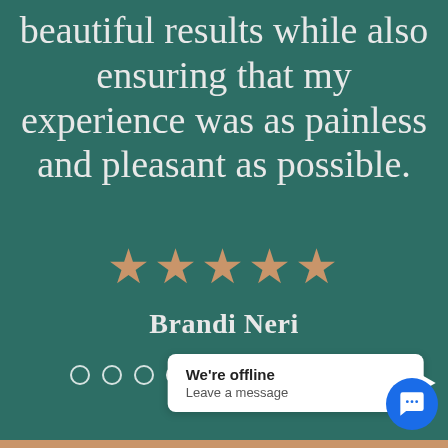beautiful results while also ensuring that my experience was as painless and pleasant as possible.
[Figure (other): Five gold/copper colored stars representing a 5-star rating]
Brandi Neri
[Figure (other): Carousel navigation dots, 10 dots total, 4th dot filled/active]
[Figure (screenshot): Chat popup showing 'We're offline - Leave a message' with blue chat button]